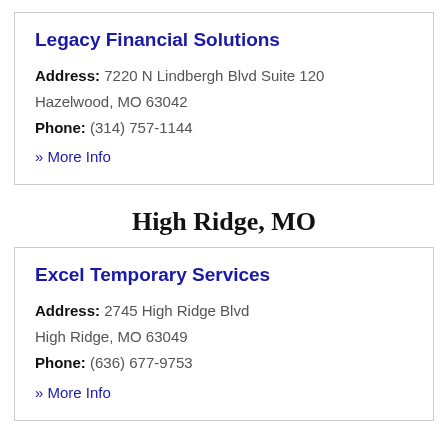Legacy Financial Solutions
Address: 7220 N Lindbergh Blvd Suite 120 Hazelwood, MO 63042
Phone: (314) 757-1144
» More Info
High Ridge, MO
Excel Temporary Services
Address: 2745 High Ridge Blvd High Ridge, MO 63049
Phone: (636) 677-9753
» More Info